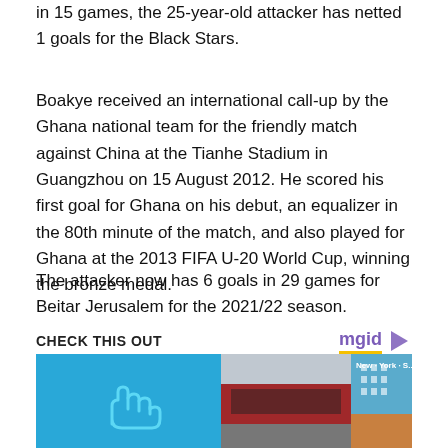in 15 games, the 25-year-old attacker has netted 1 goals for the Black Stars.
Boakye received an international call-up by the Ghana national team for the friendly match against China at the Tianhe Stadium in Guangzhou on 15 August 2012. He scored his first goal for Ghana on his debut, an equalizer in the 80th minute of the match, and also played for Ghana at the 2013 FIFA U-20 World Cup, winning the bronze medal.
The attacker now has 6 goals in 29 games for Beitar Jerusalem for the 2021/22 season.
CHECK THIS OUT
[Figure (screenshot): Promotional image strip showing two panels: a blue background with a fist icon outline on the left, and a shopping mall building labeled New York Street on the right.]